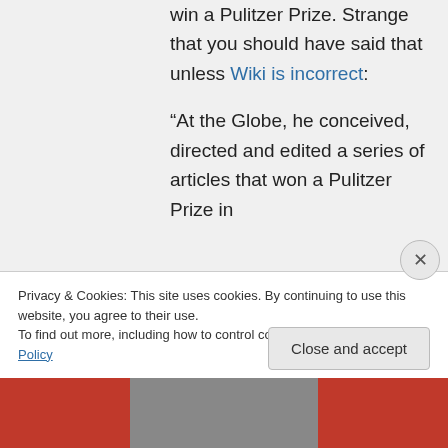win a Pulitzer Prize. Strange that you should have said that unless Wiki is incorrect:
“At the Globe, he conceived, directed and edited a series of articles that won a Pulitzer Prize in
Privacy & Cookies: This site uses cookies. By continuing to use this website, you agree to their use.
To find out more, including how to control cookies, see here: Cookie Policy
Close and accept